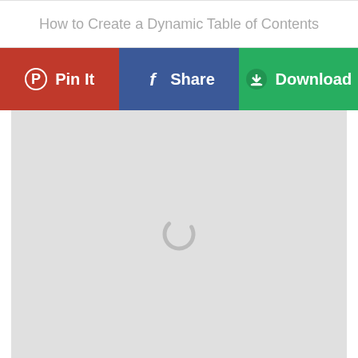How to Create a Dynamic Table of Contents
[Figure (screenshot): Social sharing button bar with Pin It (red), Share (blue), and Download (green) buttons]
[Figure (screenshot): Light gray preview area with a circular loading spinner in the center]